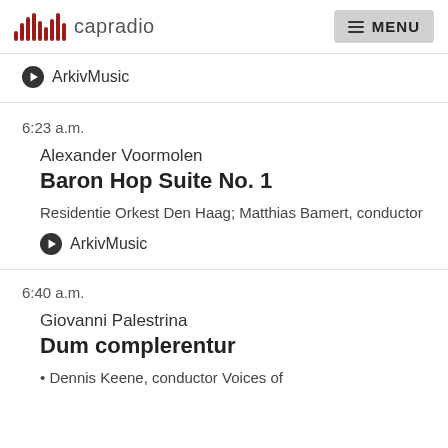capradio MENU
ArkivMusic
6:23 a.m.
Alexander Voormolen
Baron Hop Suite No. 1
Residentie Orkest Den Haag; Matthias Bamert, conductor
ArkivMusic
6:40 a.m.
Giovanni Palestrina
Dum complerentur
Dennis Keene, conductor Voices of